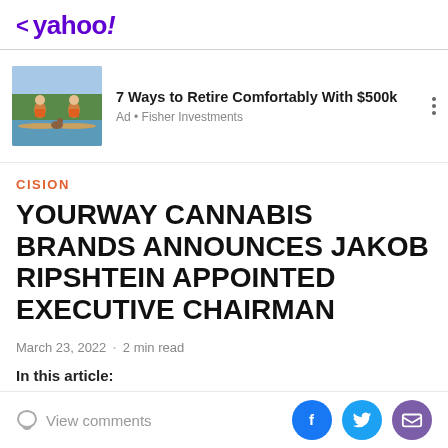< yahoo!
[Figure (illustration): Ad banner showing two people paddleboarding with a dog, Fisher Investments ad. Title: 7 Ways to Retire Comfortably With $500k. Ad • Fisher Investments]
CISION
YOURWAY CANNABIS BRANDS ANNOUNCES JAKOB RIPSHTEIN APPOINTED EXECUTIVE CHAIRMAN
March 23, 2022  ·  2 min read
In this article:
View comments